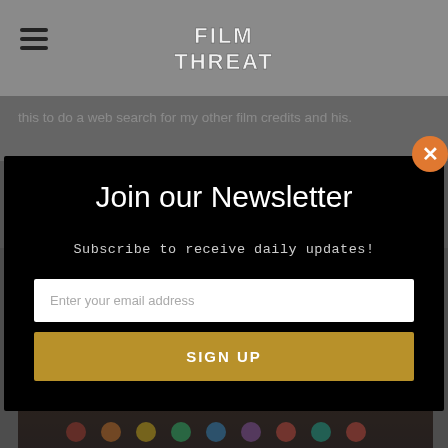Film Threat
this to do a web search for my other film credits and his.
Join our Newsletter
Subscribe to receive daily updates!
Enter your email address
SIGN UP
[Figure (photo): Dark movie still showing a person, with colorful elements at the bottom]